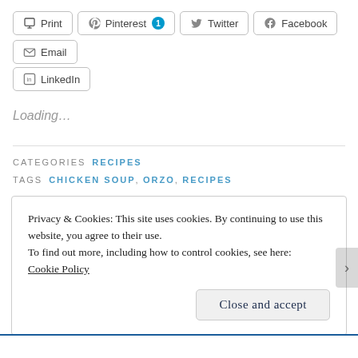Print | Pinterest 1 | Twitter | Facebook | Email | LinkedIn
Loading...
CATEGORIES  RECIPES
TAGS  CHICKEN SOUP, ORZO, RECIPES
Privacy & Cookies: This site uses cookies. By continuing to use this website, you agree to their use.
To find out more, including how to control cookies, see here:
Cookie Policy
Close and accept